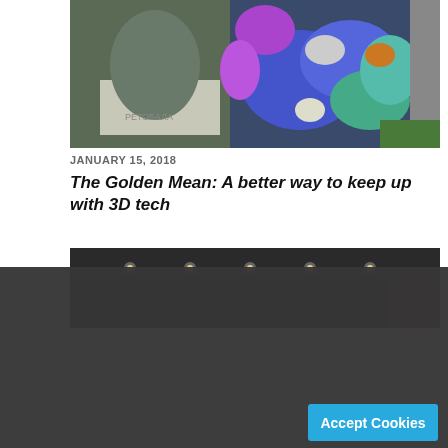[Figure (photo): A bronze statue of a seated figure on a pedestal, overlaid with colorful geological or digital imagery in blues, greens, and purples]
JANUARY 15, 2018
The Golden Mean: A better way to keep up with 3D tech
[Figure (photo): A dark interior space with ceiling lights, possibly a theater or auditorium]
We use cookies to understand how you use our site and to improve your experience. This includes personalizing content and advertising. By continuing to use our site, you accept our use of cookies. To learn more, please review our privacy policy.
Accept Cookies